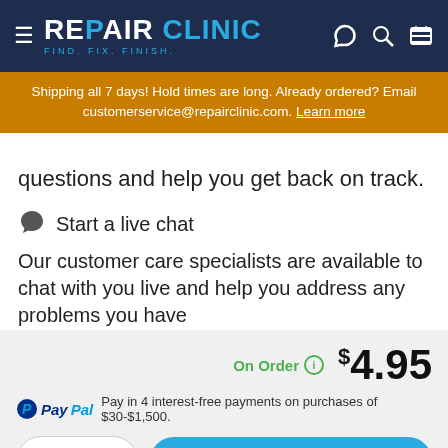REPAIR CLINIC — FIND. FIX. FINISH.
Shipping all 7 days! Hold times are long. Already ordered? Email customerservice@repairclinic.com. Learn more
questions and help you get back on track.
Start a live chat
Our customer care specialists are available to chat with you live and help you address any problems you have
START A LIVE CHAT
On Order  $4.95
Pay in 4 interest-free payments on purchases of $30-$1,500.
1
ADD TO CART